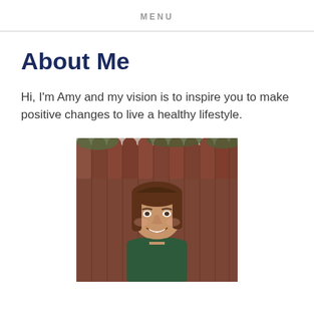MENU
About Me
Hi, I'm Amy and my vision is to inspire you to make positive changes to live a healthy lifestyle.
[Figure (photo): A smiling woman with brown shoulder-length hair standing in front of a wooden fence outdoors.]